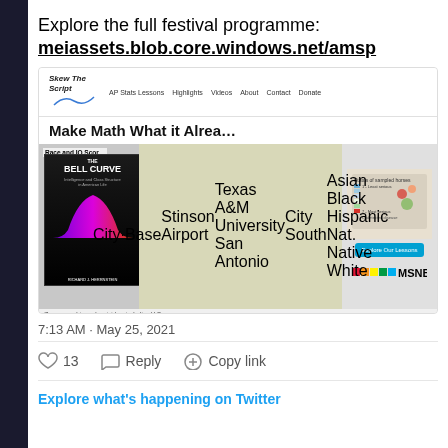Explore the full festival programme:
meiassets.blob.core.windows.net/amsp
[Figure (screenshot): Screenshot of Skew The Script website showing navigation bar with AP Stats Lessons, Highlights, Videos, About, Contact, Donate links, bold headline 'Make Math What it Alrea...' and embedded images including The Bell Curve book cover with 'Race and IQ Scor...' label, a map of San Antonio area, a legend map, and MSNBC Explore Our Lessons button. Bottom shows 'Gun ownership vs. homicides, including U.S.' caption with box 'The U.S. is an influential point*' and 'Average medical improvement, 30 ppl' text with MSNBC logo.]
7:13 AM · May 25, 2021
13    Reply    Copy link
Explore what's happening on Twitter